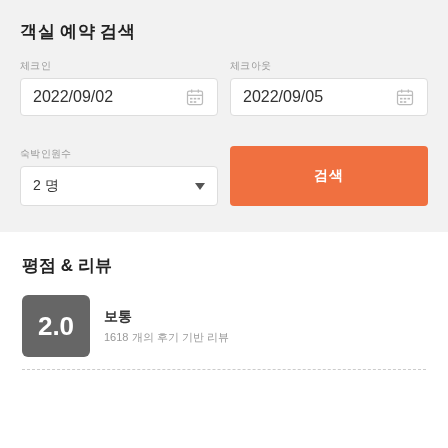객실 예약 검색
체크인
2022/09/02
체크아웃
2022/09/05
숙박인원수
2 명
검색
평점 & 리뷰
2.0
보통
1618 개의 후기 기반 리뷰